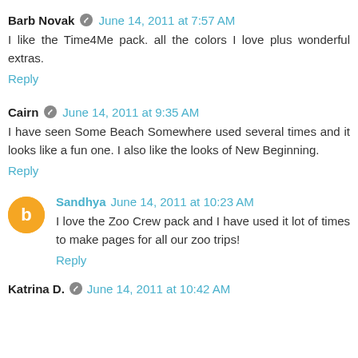Barb Novak — June 14, 2011 at 7:57 AM
I like the Time4Me pack. all the colors I love plus wonderful extras.
Reply
Cairn — June 14, 2011 at 9:35 AM
I have seen Some Beach Somewhere used several times and it looks like a fun one. I also like the looks of New Beginning.
Reply
Sandhya — June 14, 2011 at 10:23 AM
I love the Zoo Crew pack and I have used it lot of times to make pages for all our zoo trips!
Reply
Katrina D. — June 14, 2011 at 10:42 AM